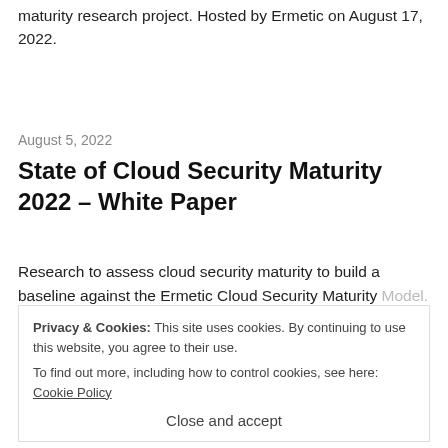maturity research project. Hosted by Ermetic on August 17, 2022.
August 5, 2022
State of Cloud Security Maturity 2022 – White Paper
Research to assess cloud security maturity to build a baseline against the Ermetic Cloud Security Maturity Model. Commissioned by Ermetic.
Privacy & Cookies: This site uses cookies. By continuing to use this website, you agree to their use. To find out more, including how to control cookies, see here: Cookie Policy
Close and accept
June 25, 2022
The Rush to MDR Services – Webinar